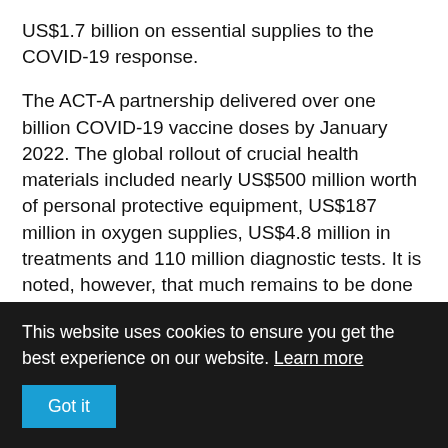US$1.7 billion on essential supplies to the COVID-19 response.
The ACT-A partnership delivered over one billion COVID-19 vaccine doses by January 2022. The global rollout of crucial health materials included nearly US$500 million worth of personal protective equipment, US$187 million in oxygen supplies, US$4.8 million in treatments and 110 million diagnostic tests. It is noted, however, that much remains to be done for the world to get on track in achieving the WHO's target of each country
This website uses cookies to ensure you get the best experience on our website. Learn more
Got it